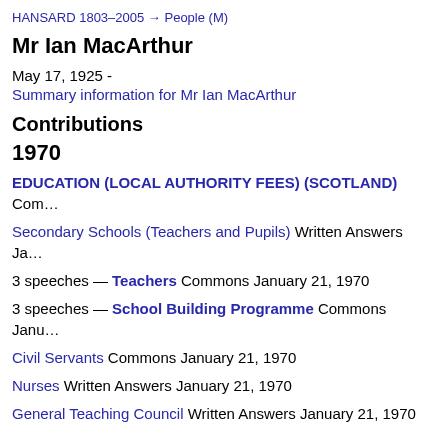HANSARD 1803–2005 → People (M)
Mr Ian MacArthur
May 17, 1925 -
Summary information for Mr Ian MacArthur
Contributions
1970
EDUCATION (LOCAL AUTHORITY FEES) (SCOTLAND) Com…
Secondary Schools (Teachers and Pupils) Written Answers Ja…
3 speeches — Teachers Commons January 21, 1970
3 speeches — School Building Programme Commons Janu…
Civil Servants Commons January 21, 1970
Nurses Written Answers January 21, 1970
General Teaching Council Written Answers January 21, 1970